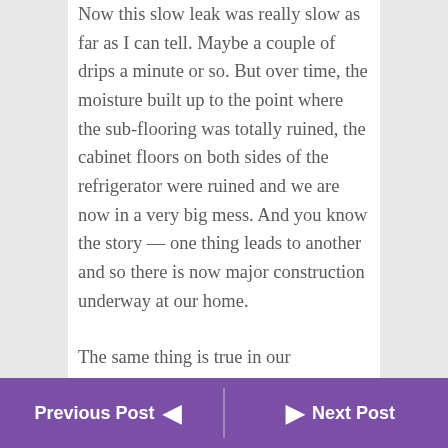Now this slow leak was really slow as far as I can tell. Maybe a couple of drips a minute or so. But over time, the moisture built up to the point where the sub-flooring was totally ruined, the cabinet floors on both sides of the refrigerator were ruined and we are now in a very big mess. And you know the story — one thing leads to another and so there is now major construction underway at our home.
The same thing is true in our businesses. The small things are what give us the big challenges in the end. That's why we want
Previous Post ◄ | ► Next Post